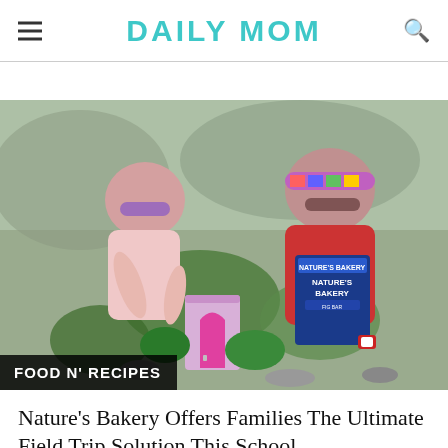DAILY MOM
[Figure (photo): A young girl with purple sunglasses and a woman with a colorful headband leaning over a small fairy door garden display, with a Nature's Bakery Fig Bar box visible. Category badge reads FOOD N' RECIPES.]
Nature's Bakery Offers Families The Ultimate Field Trip Solution This School